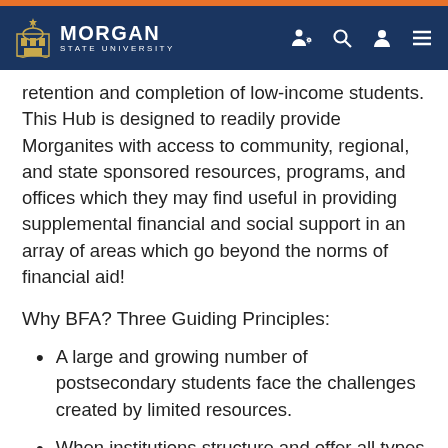Morgan State University
retention and completion of low-income students. This Hub is designed to readily provide Morganites with access to community, regional, and state sponsored resources, programs, and offices which they may find useful in providing supplemental financial and social support in an array of areas which go beyond the norms of financial aid!
Why BFA? Three Guiding Principles:
A large and growing number of postsecondary students face the challenges created by limited resources.
When institutions structure and offer all types of financial aid (including non-traditional supports) in a coherent and consumable way, students will